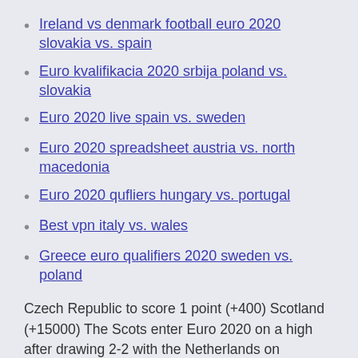Ireland vs denmark football euro 2020 slovakia vs. spain
Euro kvalifikacia 2020 srbija poland vs. slovakia
Euro 2020 live spain vs. sweden
Euro 2020 spreadsheet austria vs. north macedonia
Euro 2020 qufliers hungary vs. portugal
Best vpn italy vs. wales
Greece euro qualifiers 2020 sweden vs. poland
Czech Republic to score 1 point (+400) Scotland (+15000) The Scots enter Euro 2020 on a high after drawing 2-2 with the Netherlands on Wednesday.